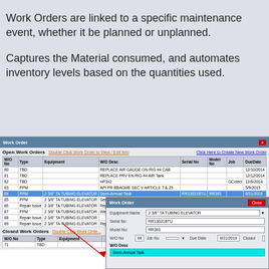Work Orders are linked to a specific maintenance event, whether it be planned or unplanned.
Captures the Material consumed, and automates inventory levels based on the quantities used.
[Figure (screenshot): Screenshot of a Work Order management software interface showing Open Work Orders table with columns for W/O No, Type, Equipment, W/O Desc, Serial No, Model No, Job, DueDate. A selected row shows '2 3/8 TA TUBING ELEVATOR' with Semi-Annual Task highlighted in blue. A red arrow points to a sub-popup Work Order detail window showing Equipment Name '2 3/8 TA TUBING ELEVATOR', Serial No 'RR13021BTU', Model No 'RR393', W/O No '84', Due Date '8/31/2018', Closed checkbox, W/O Desc field with 'Semi-Annual Task' in cyan. Below is a Closed Work Orders section.]